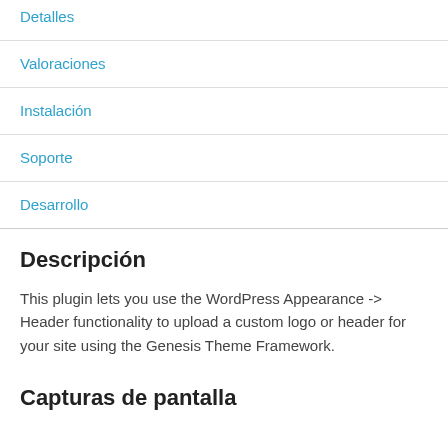Detalles
Valoraciones
Instalación
Soporte
Desarrollo
Descripción
This plugin lets you use the WordPress Appearance -> Header functionality to upload a custom logo or header for your site using the Genesis Theme Framework.
Capturas de pantalla